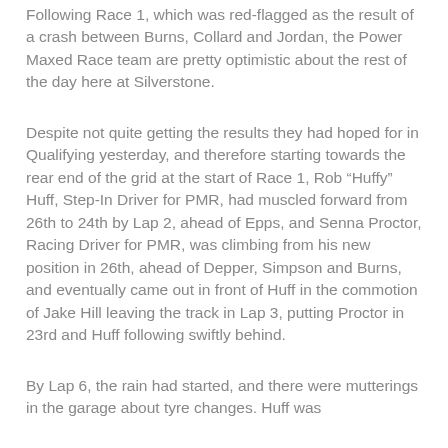Following Race 1, which was red-flagged as the result of a crash between Burns, Collard and Jordan, the Power Maxed Race team are pretty optimistic about the rest of the day here at Silverstone.
Despite not quite getting the results they had hoped for in Qualifying yesterday, and therefore starting towards the rear end of the grid at the start of Race 1, Rob “Huffy” Huff, Step-In Driver for PMR, had muscled forward from 26th to 24th by Lap 2, ahead of Epps, and Senna Proctor, Racing Driver for PMR, was climbing from his new position in 26th, ahead of Depper, Simpson and Burns, and eventually came out in front of Huff in the commotion of Jake Hill leaving the track in Lap 3, putting Proctor in 23rd and Huff following swiftly behind.
By Lap 6, the rain had started, and there were mutterings in the garage about tyre changes. Huff was